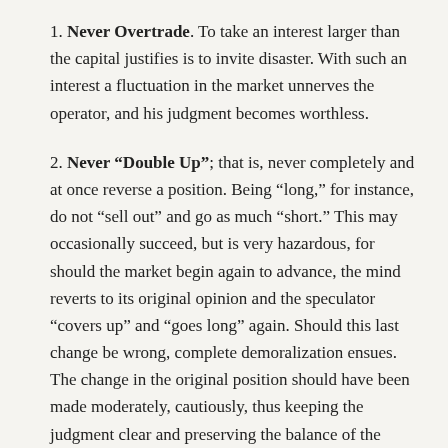1. Never Overtrade. To take an interest larger than the capital justifies is to invite disaster. With such an interest a fluctuation in the market unnerves the operator, and his judgment becomes worthless.
2. Never “Double Up”; that is, never completely and at once reverse a position. Being “long,” for instance, do not “sell out” and go as much “short.” This may occasionally succeed, but is very hazardous, for should the market begin again to advance, the mind reverts to its original opinion and the speculator “covers up” and “goes long” again. Should this last change be wrong, complete demoralization ensues. The change in the original position should have been made moderately, cautiously, thus keeping the judgment clear and preserving the balance of the mind.
3. “Run Quickly,” or not at all; that is to say, act promptly at the first approach of danger, but failing to do this until others see the danger, hold on or close